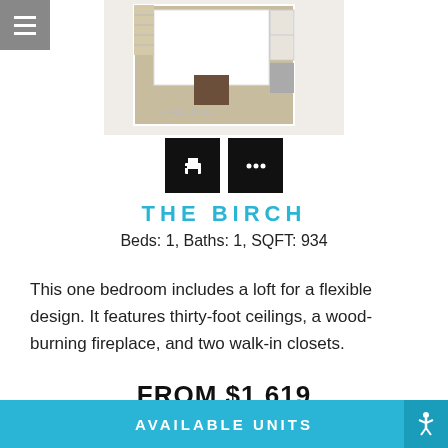[Figure (floorplan): Apartment floor plan for The Birch unit showing a one-bedroom layout with loft, as a 3D rendered top-down illustration with cream/tan walls and dark wood accents, with RealPage watermark]
THE BIRCH
Beds: 1, Baths: 1, SQFT: 934
This one bedroom includes a loft for a flexible design. It features thirty-foot ceilings, a wood-burning fireplace, and two walk-in closets.
FROM $1,619
AVAILABLE UNITS